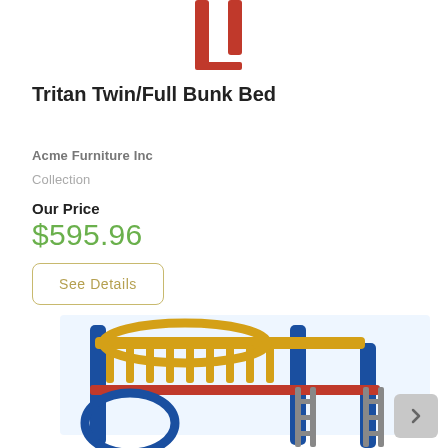[Figure (photo): Partial top view of a red metal bunk bed frame showing the upper posts and frame against a white background]
Tritan Twin/Full Bunk Bed
Acme Furniture Inc
Collection
Our Price
$595.96
See Details
[Figure (photo): Colorful multi-color metal bunk bed with yellow top rail, blue frame legs, and red accents, shown at an angle]